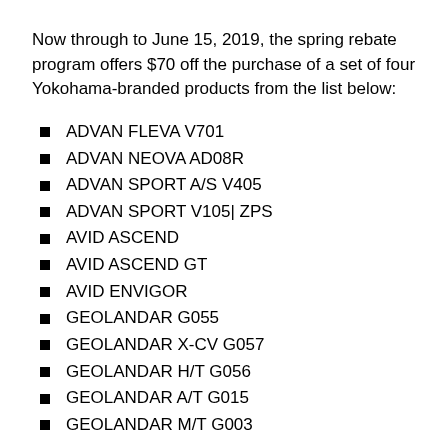Now through to June 15, 2019, the spring rebate program offers $70 off the purchase of a set of four Yokohama-branded products from the list below:
ADVAN FLEVA V701
ADVAN NEOVA AD08R
ADVAN SPORT A/S V405
ADVAN SPORT V105| ZPS
AVID ASCEND
AVID ASCEND GT
AVID ENVIGOR
GEOLANDAR G055
GEOLANDAR X-CV G057
GEOLANDAR H/T G056
GEOLANDAR A/T G015
GEOLANDAR M/T G003